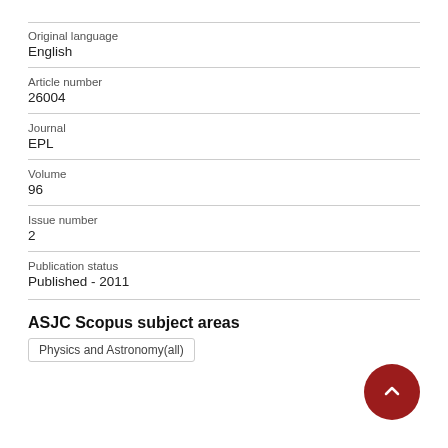Original language
English
Article number
26004
Journal
EPL
Volume
96
Issue number
2
Publication status
Published - 2011
ASJC Scopus subject areas
Physics and Astronomy(all)